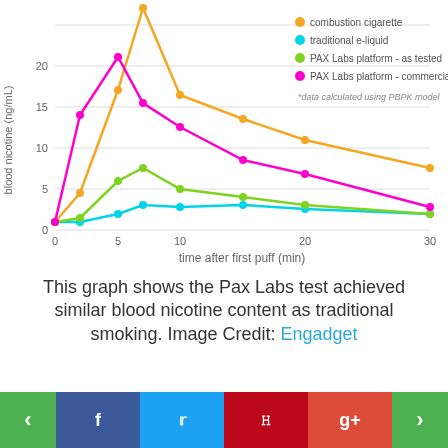[Figure (line-chart): blood nicotine over time after first puff]
This graph shows the Pax Labs test achieved similar blood nicotine content as traditional smoking. Image Credit: Engadget
Test subjects achieved a heart rate of 1.2 times the norm seconds after the patented nicoti...